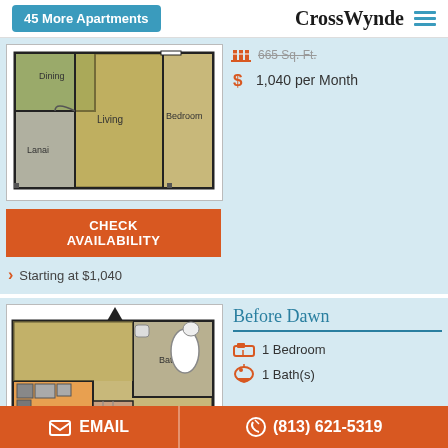45 More Apartments | CrossWynde
[Figure (illustration): Floor plan of an apartment unit showing Dining, Living, Lanai, and Bedroom areas]
665 Sq. Ft. | $1,040 per Month
CHECK AVAILABILITY
Starting at $1,040
[Figure (illustration): Floor plan of Before Dawn apartment unit showing Kitchen, Bath, and living areas]
Before Dawn
1 Bedroom
1 Bath(s)
EMAIL | (813) 621-5319